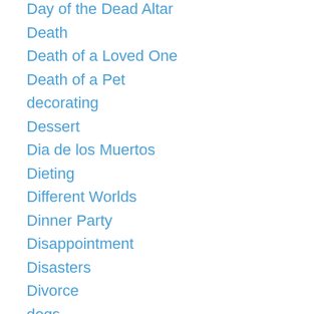Day of the Dead Altar
Death
Death of a Loved One
Death of a Pet
decorating
Dessert
Dia de los Muertos
Dieting
Different Worlds
Dinner Party
Disappointment
Disasters
Divorce
dogs
Dolls
Doors
Dorothy Parker
Dragonfly images.
Drawings
Dreams